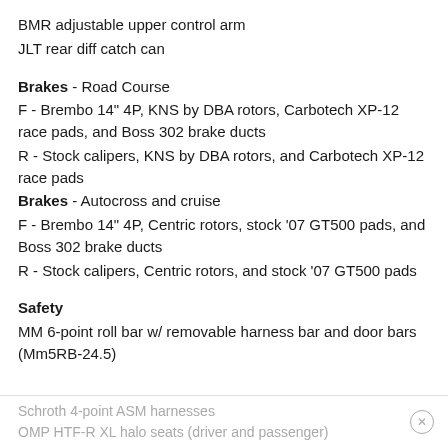BMR adjustable upper control arm
JLT rear diff catch can
Brakes - Road Course
F - Brembo 14" 4P, KNS by DBA rotors, Carbotech XP-12 race pads, and Boss 302 brake ducts
R - Stock calipers, KNS by DBA rotors, and Carbotech XP-12 race pads
Brakes - Autocross and cruise
F - Brembo 14" 4P, Centric rotors, stock '07 GT500 pads, and Boss 302 brake ducts
R - Stock calipers, Centric rotors, and stock '07 GT500 pads
Safety
MM 6-point roll bar w/ removable harness bar and door bars (Mm5RB-24.5)
Schroth 4-point ASM harnesses
OMP HTF-R XL halo seats (driver and passenger)